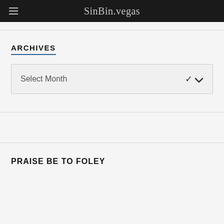SinBin.vegas
ARCHIVES
Select Month
PRAISE BE TO FOLEY